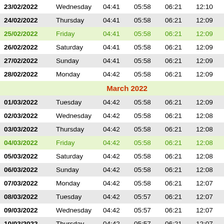| Date | Day | Col3 | Col4 | Col5 | Col6 | Col7 |
| --- | --- | --- | --- | --- | --- | --- |
| 23/02/2022 | Wednesday | 04:41 | 05:58 | 06:21 | 12:10 | 1 |
| 24/02/2022 | Thursday | 04:41 | 05:58 | 06:21 | 12:09 | 1 |
| 25/02/2022 | Friday | 04:41 | 05:58 | 06:21 | 12:09 | 1 |
| 26/02/2022 | Saturday | 04:41 | 05:58 | 06:21 | 12:09 | 1 |
| 27/02/2022 | Sunday | 04:41 | 05:58 | 06:21 | 12:09 | 1 |
| 28/02/2022 | Monday | 04:42 | 05:58 | 06:21 | 12:09 | 1 |
| March 2022 |
| 01/03/2022 | Tuesday | 04:42 | 05:58 | 06:21 | 12:09 | 1 |
| 02/03/2022 | Wednesday | 04:42 | 05:58 | 06:21 | 12:08 | 1 |
| 03/03/2022 | Thursday | 04:42 | 05:58 | 06:21 | 12:08 | 1 |
| 04/03/2022 | Friday | 04:42 | 05:58 | 06:21 | 12:08 | 1 |
| 05/03/2022 | Saturday | 04:42 | 05:58 | 06:21 | 12:08 | 1 |
| 06/03/2022 | Sunday | 04:42 | 05:58 | 06:21 | 12:08 | 1 |
| 07/03/2022 | Monday | 04:42 | 05:58 | 06:21 | 12:07 | 1 |
| 08/03/2022 | Tuesday | 04:42 | 05:57 | 06:21 | 12:07 | 1 |
| 09/03/2022 | Wednesday | 04:42 | 05:57 | 06:21 | 12:07 | 1 |
| 10/03/2022 | Thursday | 04:42 | 05:57 | 06:21 | 12:07 | 1 |
| 11/03/2022 | Friday | 04:42 | 05:57 | 06:21 | 12:06 | 1 |